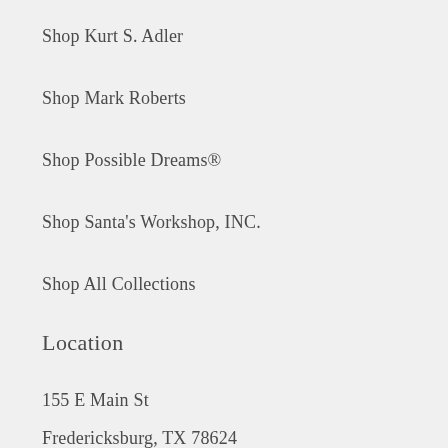Shop Kurt S. Adler
Shop Mark Roberts
Shop Possible Dreams®
Shop Santa's Workshop, INC.
Shop All Collections
Location
155 E Main St
Fredericksburg, TX 78624